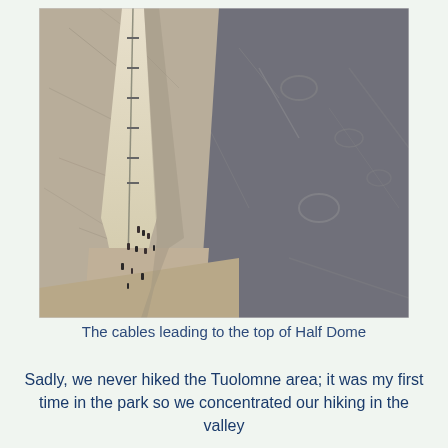[Figure (photo): A photograph of the steep granite face of Half Dome in Yosemite, showing the cable route leading up to the summit. Several tiny hikers are visible at the base of the cables. The left portion shows a lighter-colored granite slab with the cables, while the right side is darker granite curving away.]
The cables leading to the top of Half Dome
Sadly, we never hiked the Tuolomne area; it was my first time in the park so we concentrated our hiking in the valley